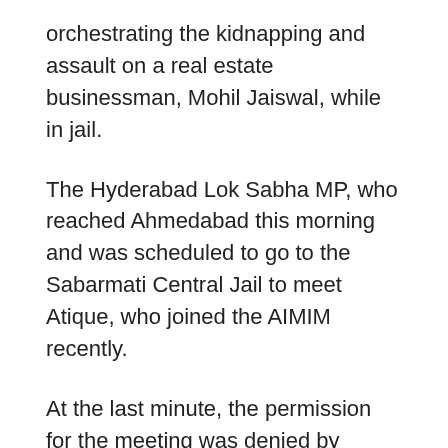orchestrating the kidnapping and assault on a real estate businessman, Mohil Jaiswal, while in jail.
The Hyderabad Lok Sabha MP, who reached Ahmedabad this morning and was scheduled to go to the Sabarmati Central Jail to meet Atique, who joined the AIMIM recently.
At the last minute, the permission for the meeting was denied by Central Prison Superintendent citing COVID Pandemic, according to the party release here.
Mr Owaisi was accompanied by Aurangabad Lok Sabha MP, Imtiyaz Jaleel, AIMIM Gujarat Unit Chief Sabir Kabliwala and Ex Mayor, GHMC and Incharge of Uttar Pradesh Majid Hussain.